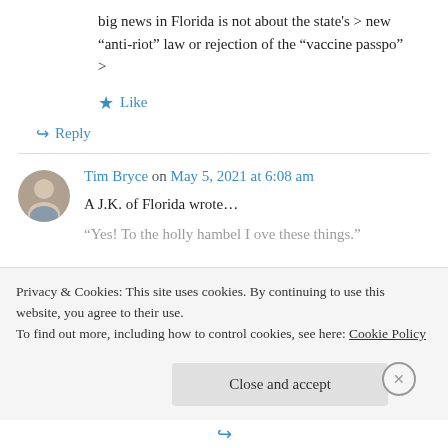big news in Florida is not about the state's > new “anti-riot” law or rejection of the “vaccine passpo” >
★ Like
↪ Reply
Tim Bryce on May 5, 2021 at 6:08 am
A J.K. of Florida wrote…
“Yes! To the holly hambel I ove these things.”
Privacy & Cookies: This site uses cookies. By continuing to use this website, you agree to their use.
To find out more, including how to control cookies, see here: Cookie Policy
Close and accept